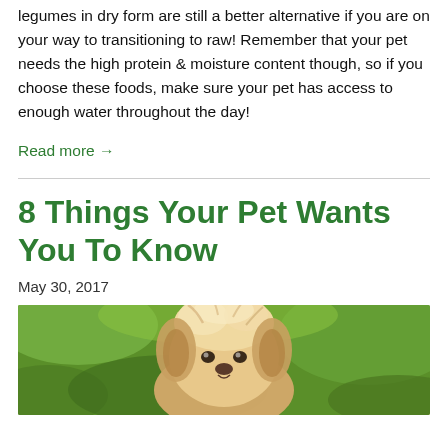legumes in dry form are still a better alternative if you are on your way to transitioning to raw! Remember that your pet needs the high protein & moisture content though, so if you choose these foods, make sure your pet has access to enough water throughout the day!
Read more →
8 Things Your Pet Wants You To Know
May 30, 2017
[Figure (photo): Close-up photo of a fluffy light-colored dog (appears to be a Yorkie or similar breed) against a green blurred background.]